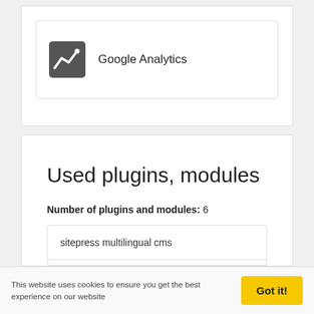[Figure (logo): Google Analytics card with chart icon and text label]
Used plugins, modules
Number of plugins and modules: 6
| sitepress multilingual cms |
| asesor cookies para la ley en espana |
| contact form 7 |
This website uses cookies to ensure you get the best experience on our website